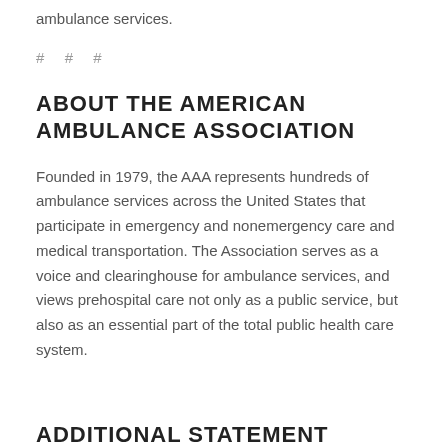ambulance services.
# # #
ABOUT THE AMERICAN AMBULANCE ASSOCIATION
Founded in 1979, the AAA represents hundreds of ambulance services across the United States that participate in emergency and nonemergency care and medical transportation. The Association serves as a voice and clearinghouse for ambulance services, and views prehospital care not only as a public service, but also as an essential part of the total public health care system.
ADDITIONAL STATEMENT